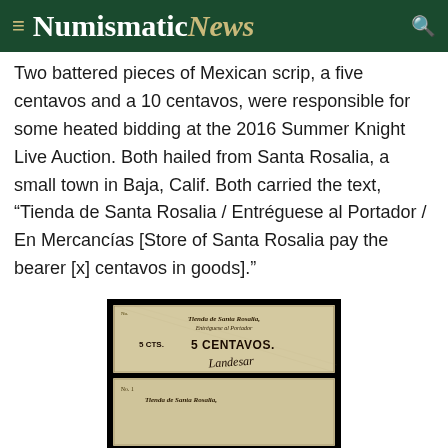Numismatic News
Two battered pieces of Mexican scrip, a five centavos and a 10 centavos, were responsible for some heated bidding at the 2016 Summer Knight Live Auction. Both hailed from Santa Rosalia, a small town in Baja, Calif. Both carried the text, “Tienda de Santa Rosalia / Entréguese al Portador / En Mercancías [Store of Santa Rosalia pay the bearer [x] centavos in goods]."
[Figure (photo): Two battered Mexican scrip notes from Santa Rosalia: top note shows '5 CTS. 5 CENTAVOS.' with 'Tienda de Santa Rosalia, Entréguese al Portador' text and a signature; bottom note is a partial view of a similar scrip note, both on black background.]